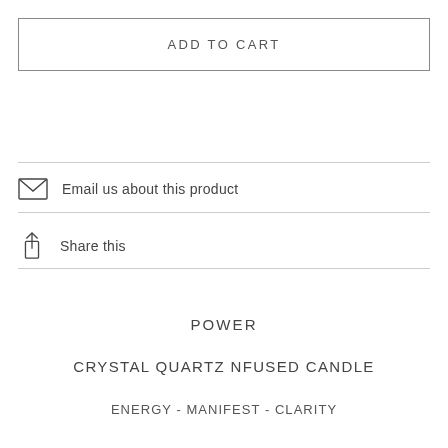ADD TO CART
Email us about this product
Share this
POWER
CRYSTAL QUARTZ NFUSED CANDLE
ENERGY - MANIFEST - CLARITY